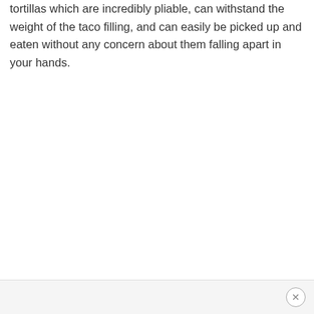tortillas which are incredibly pliable, can withstand the weight of the taco filling, and can easily be picked up and eaten without any concern about them falling apart in your hands.